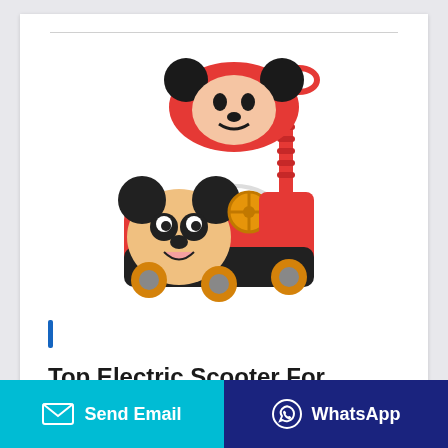[Figure (photo): A Mickey Mouse themed children's electric ride-on scooter toy. It is red and black with Mickey Mouse face at the front, a yellow steering wheel, orange/yellow wheels, and a red handle/push bar extending upward with a Mickey Mouse circular logo/sunshade on top.]
Top Electric Scooter For
Send Email
WhatsApp